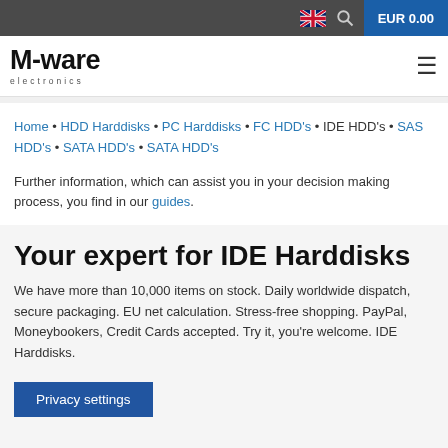EUR 0.00
[Figure (logo): M-ware electronics logo]
Home • HDD Harddisks • PC Harddisks • FC HDD's • IDE HDD's • SAS HDD's • SATA HDD's • SATA HDD's
Further information, which can assist you in your decision making process, you find in our guides.
Your expert for IDE Harddisks
We have more than 10,000 items on stock. Daily worldwide dispatch, secure packaging. EU net calculation. Stress-free shopping. PayPal, Moneybookers, Credit Cards accepted. Try it, you're welcome. IDE Harddisks.
Privacy settings